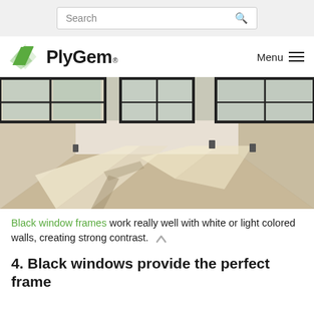Search
[Figure (logo): Ply Gem logo with green chevron/arrow icon and bold text 'Ply Gem' with trademark symbol, plus Menu hamburger navigation]
[Figure (photo): Interior of an empty room under construction with dark/black window frames letting in natural light, casting rectangular light patches on the floor. White drywall walls visible. Three windows visible.]
Black window frames work really well with white or light colored walls, creating strong contrast.
4. Black windows provide the perfect frame